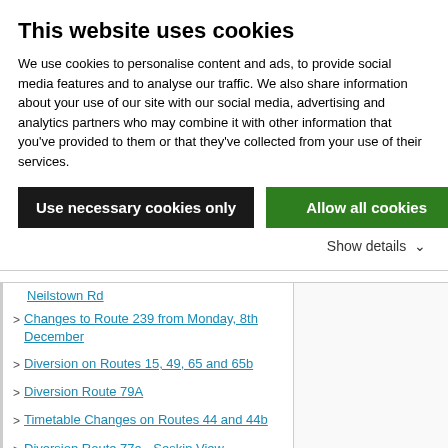This website uses cookies
We use cookies to personalise content and ads, to provide social media features and to analyse our traffic. We also share information about your use of our site with our social media, advertising and analytics partners who may combine it with other information that you've provided to them or that they've collected from your use of their services.
Use necessary cookies only
Allow all cookies
Show details
Changes to Route 239 from Monday, 8th December
Diversion on Routes 15, 49, 65 and 65b
Diversion Route 79A
Timetable Changes on Routes 44 and 44b
Diversion Route 77a - Seskin View
Route 27 - Cheeverstown Rd
Diversion on Route 18
Diversion on Route 59 Due to Road-Works
Diversion Route 7